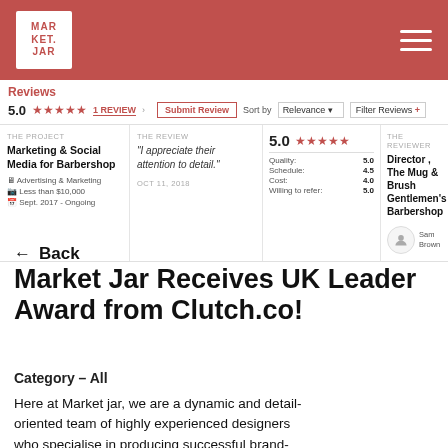[Figure (logo): Market Jar logo - white box with red text MAR KET JAR on red background header]
Reviews
5.0 ★★★★★ 1 REVIEW
THE PROJECT
Marketing & Social Media for Barbershop
Advertising & Marketing
Less than $10,000
Sept. 2017 - Ongoing
THE REVIEW
"I appreciate their attention to detail."
OCT 11, 2018
5.0 ★★★★★
Quality: 5.0
Schedule: 4.5
Cost: 4.0
Willing to refer: 5.0
THE REVIEWER
Director, The Mug & Brush Gentlemen's Barbershop
← Back
Market Jar Receives UK Leader Award from Clutch.co!
Category – All
Here at Market jar, we are a dynamic and detail-oriented team of highly experienced designers who specialise in producing successful brand-